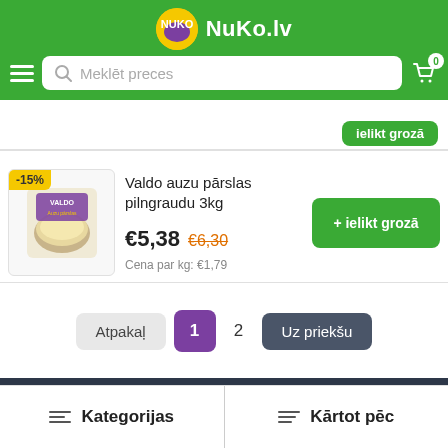NuKo.lv
Meklēt preces
[Figure (screenshot): Partially visible product row at top with a green 'ielikt grozā' button]
Valdo auzu pārslas pilngraudu 3kg
[Figure (photo): Product image of Valdo oat flakes 3kg with -15% discount badge]
€5,38  €6,30
Cena par kg: €1,79
+ ielikt grozā
Atpakaļ
1
2
Uz priekšu
Kategorijas    Kārtot pēc